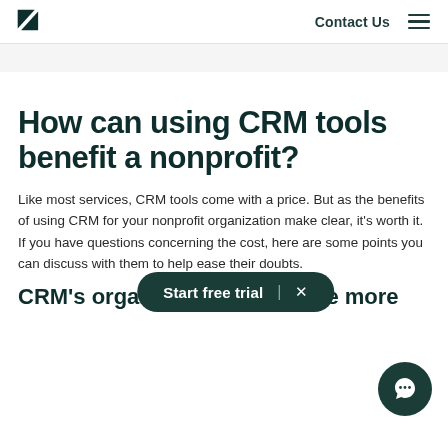Zendesk logo | Contact Us | Menu
How can using CRM tools benefit a nonprofit?
Like most services, CRM tools come with a price. But as the benefits of using CRM for your nonprofit organization make clear, it's worth it. If you have questions concerning the cost, here are some points you can discuss with them to help ease their doubts.
CRM's organizational tools are more